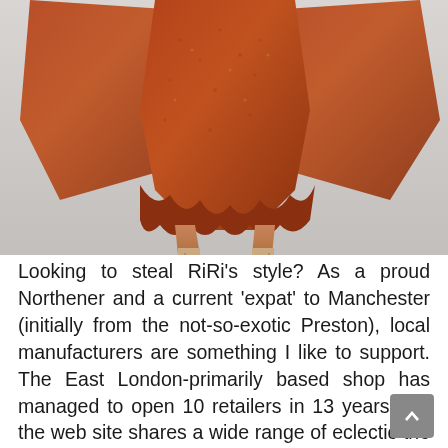[Figure (photo): Lower half of a person wearing a rust/burnt-orange knit dress with pleated hem detail and strappy beige heels, photographed against a light grey/white background.]
Looking to steal RiRi's style? As a proud Northener and a current 'expat' to Manchester (initially from the not-so-exotic Preston), local manufacturers are something I like to support. The East London-primarily based shop has managed to open 10 retailers in 13 years and the web site shares a wide range of eclectic the clothes and niknaks curated by a workforce of vintage specialists –